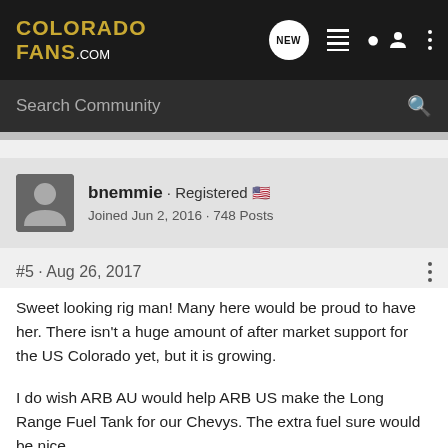COLORADO FANS.COM
Search Community
bnemmie · Registered 🇺🇸
Joined Jun 2, 2016 · 748 Posts
#5 · Aug 26, 2017
Sweet looking rig man! Many here would be proud to have her. There isn't a huge amount of after market support for the US Colorado yet, but it is growing.

I do wish ARB AU would help ARB US make the Long Range Fuel Tank for our Chevys. The extra fuel sure would be nice...

Welcome!